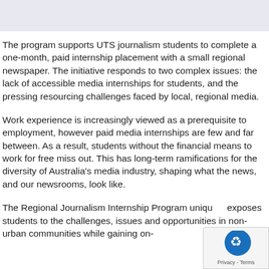The program supports UTS journalism students to complete a one-month, paid internship placement with a small regional newspaper. The initiative responds to two complex issues: the lack of accessible media internships for students, and the pressing resourcing challenges faced by local, regional media.
Work experience is increasingly viewed as a prerequisite to employment, however paid media internships are few and far between. As a result, students without the financial means to work for free miss out. This has long-term ramifications for the diversity of Australia's media industry, shaping what the news, and our newsrooms, look like.
The Regional Journalism Internship Program uniquely exposes students to the challenges, issues and opportunities in non-urban communities while gaining on-